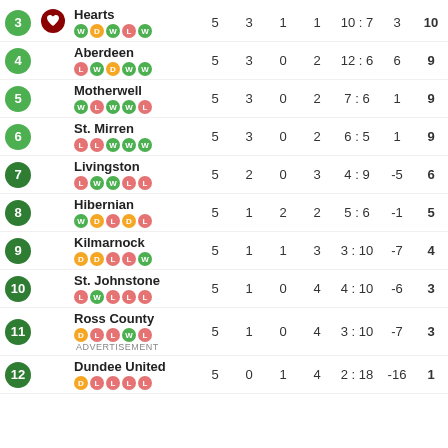| # | Club |  | P | W | D | L | Goals | GD | Pts |
| --- | --- | --- | --- | --- | --- | --- | --- | --- | --- |
| 3 | Hearts |  | 5 | 3 | 1 | 1 | 10:7 | 3 | 10 |
| 4 | Aberdeen |  | 5 | 3 | 0 | 2 | 12:6 | 6 | 9 |
| 5 | Motherwell |  | 5 | 3 | 0 | 2 | 7:6 | 1 | 9 |
| 6 | St. Mirren |  | 5 | 3 | 0 | 2 | 6:5 | 1 | 9 |
| 7 | Livingston |  | 5 | 2 | 0 | 3 | 4:9 | -5 | 6 |
| 8 | Hibernian |  | 5 | 1 | 2 | 2 | 5:6 | -1 | 5 |
| 9 | Kilmarnock |  | 5 | 1 | 1 | 3 | 3:10 | -7 | 4 |
| 10 | St. Johnstone |  | 5 | 1 | 0 | 4 | 4:10 | -6 | 3 |
| 11 | Ross County |  | 5 | 1 | 0 | 4 | 3:10 | -7 | 3 |
| 12 | Dundee United |  | 5 | 0 | 1 | 4 | 2:18 | -16 | 1 |